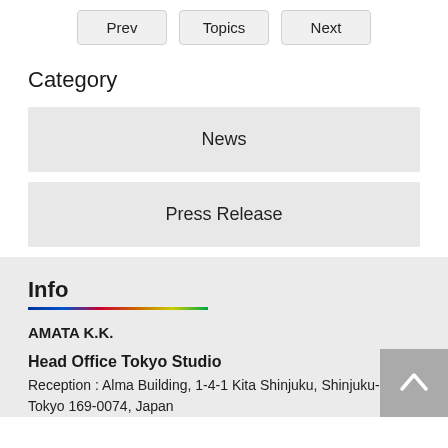Prev  Topics  Next
Category
News
Press Release
Info
AMATA K.K.
Head Office Tokyo Studio
Reception : Alma Building, 1-4-1 Kita Shinjuku, Shinjuku-ku, Tokyo 169-0074, Japan